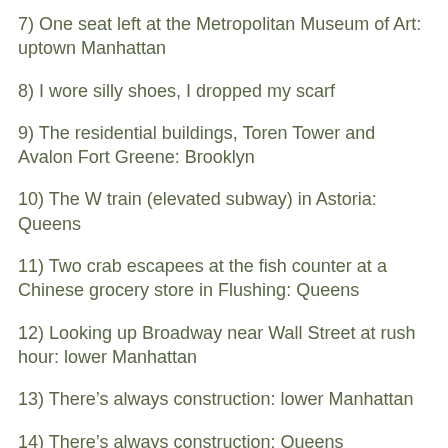7) One seat left at the Metropolitan Museum of Art: uptown Manhattan
8) I wore silly shoes, I dropped my scarf
9) The residential buildings, Toren Tower and Avalon Fort Greene: Brooklyn
10) The W train (elevated subway) in Astoria: Queens
11) Two crab escapees at the fish counter at a Chinese grocery store in Flushing: Queens
12) Looking up Broadway near Wall Street at rush hour: lower Manhattan
13) There’s always construction: lower Manhattan
14) There’s always construction: Queens
15) Ductwork and fire escape, vicinity of Church Street: lower